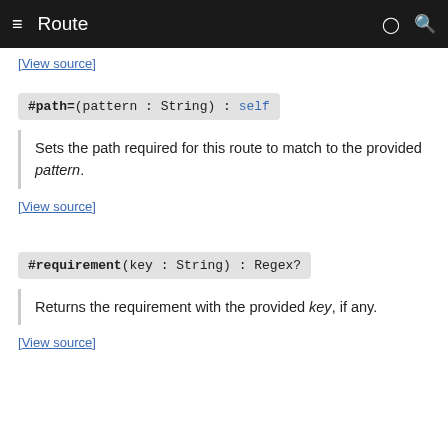Route
[View source]
#path=(pattern : String) : self
Sets the path required for this route to match to the provided pattern.
[View source]
#requirement(key : String) : Regex?
Returns the requirement with the provided key, if any.
[View source]